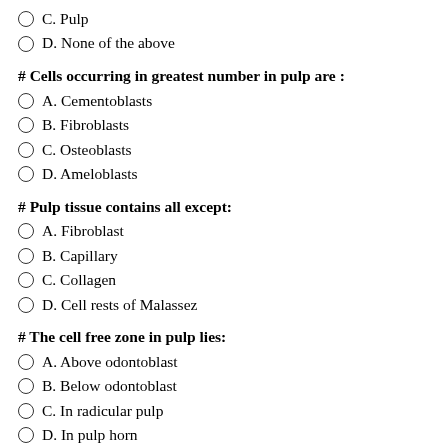C. Pulp
D. None of the above
# Cells occurring in greatest number in pulp are :
A. Cementoblasts
B. Fibroblasts
C. Osteoblasts
D. Ameloblasts
# Pulp tissue contains all except:
A. Fibroblast
B. Capillary
C. Collagen
D. Cell rests of Malassez
# The cell free zone in pulp lies:
A. Above odontoblast
B. Below odontoblast
C. In radicular pulp
D. In pulp horn